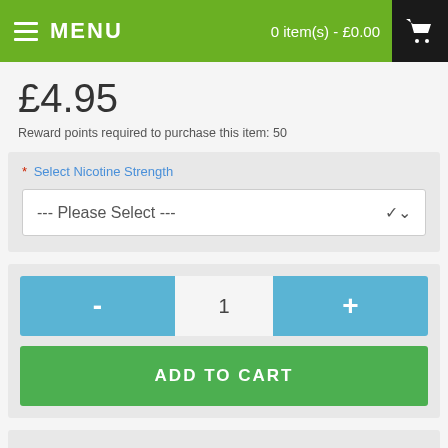MENU | 0 item(s) - £0.00
£4.95
Reward points required to purchase this item: 50
* Select Nicotine Strength --- Please Select ---
- 1 + ADD TO CART
★★★★★ 1 reviews / Write a review